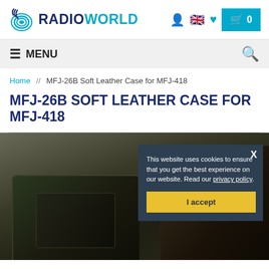RADIOWORLD — header with logo, icons, cart
≡ MENU  🔍
Home // MFJ-26B Soft Leather Case for MFJ-418
MFJ-26B SOFT LEATHER CASE FOR MFJ-418
[Figure (photo): Product photo of MFJ-26B Soft Leather Case for MFJ-418, dark leather case on dark background]
This website uses cookies to ensure that you get the best experience on our website. Read our privacy policy.
I accept